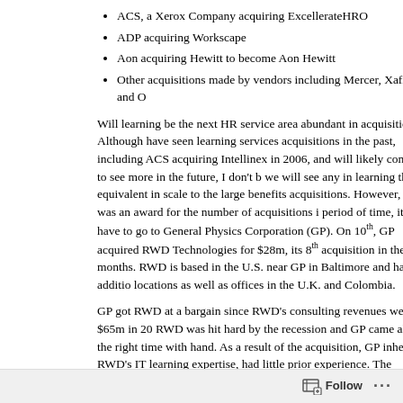ACS, a Xerox Company acquiring ExcellerateHRO
ADP acquiring Workscape
Aon acquiring Hewitt to become Aon Hewitt
Other acquisitions made by vendors including Mercer, Xafinity, and O
Will learning be the next HR service area abundant in acquisitions? Although have seen learning services acquisitions in the past, including ACS acquiring Intellinex in 2006, and will likely continue to see more in the future, I don't b we will see any in learning that are equivalent in scale to the large benefits acquisitions. However, if there was an award for the number of acquisitions i period of time, it would have to go to General Physics Corporation (GP). On 10th, GP acquired RWD Technologies for $28m, its 8th acquisition in the past months. RWD is based in the U.S. near GP in Baltimore and has three additio locations as well as offices in the U.K. and Colombia.
GP got RWD at a bargain since RWD's consulting revenues were $65m in 20 RWD was hit hard by the recession and GP came along at the right time with hand. As a result of the acquisition, GP inherits RWD's IT learning expertise, had little prior experience. The acquisition also strengthens GP in the petrole manufacturing, and automotive sectors.
Last month, GP acquired Communication Consulting to expand delivery of it
Follow ...